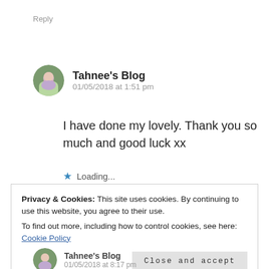Reply
Tahnee's Blog
01/05/2018 at 1:51 pm
I have done my lovely. Thank you so much and good luck xx
Loading...
Privacy & Cookies: This site uses cookies. By continuing to use this website, you agree to their use.
To find out more, including how to control cookies, see here: Cookie Policy
Close and accept
Tahnee's Blog
01/05/2018 at 8:17 pm